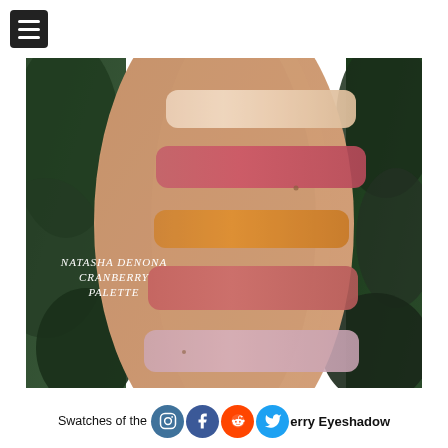[Figure (photo): Photo of arm swatches of Natasha Denona Cranberry Palette eyeshadows, showing 5 swatches: a champagne shimmer, a pink/red matte, a copper/bronze shimmer, a coral/pink matte, and a pink shimmer. Text overlay reads 'Natasha Denona Cranberry Palette'.]
Swatches of the [Instagram][Facebook][Reddit][Twitter] Natasha Denona Cranberry Eyeshadow Palette